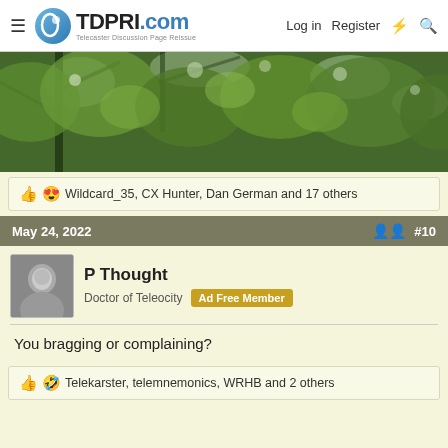TDPRI.com Telecaster Discussion Page Reissue — Log in  Register
[Figure (photo): Close-up photo of green tree leaves against a bright sky]
👍 😍 Wildcard_35, CX Hunter, Dan German and 17 others
May 24, 2022  #10
P Thought — Doctor of Teleocity — Ad Free Member
You bragging or complaining?
👍 🤣 Telekarster, telemnemonics, WRHB and 2 others